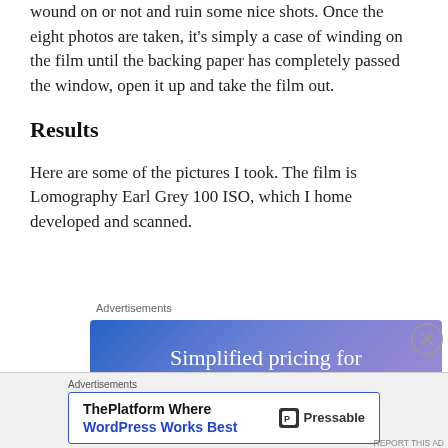wound on or not and ruin some nice shots. Once the eight photos are taken, it's simply a case of winding on the film until the backing paper has completely passed the window, open it up and take the film out.
Results
Here are some of the pictures I took. The film is Lomography Earl Grey 100 ISO, which I home developed and scanned.
Advertisements
[Figure (screenshot): Advertisement banner with blue-to-purple gradient background and white text reading 'Simplified pricing for everything you need.']
Advertisements
[Figure (screenshot): Pressable advertisement: 'ThePlatform Where WordPress Works Best' with Pressable logo on white background with blue border]